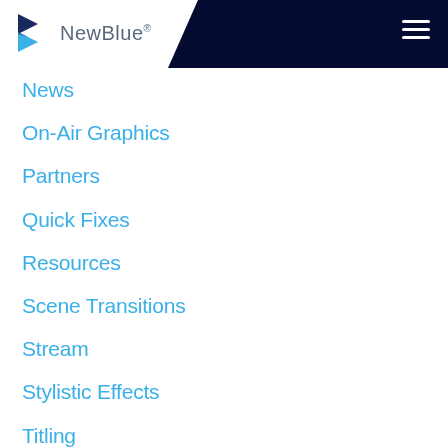[Figure (logo): NewBlue logo with stylized blue arrow icon and dark navy header bar with hamburger menu icon]
News
On-Air Graphics
Partners
Quick Fixes
Resources
Scene Transitions
Stream
Stylistic Effects
Titling
Titling – Live/On-Air Graphics
Tutorials